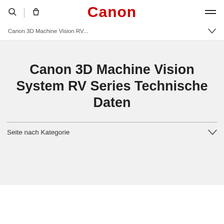Canon
Canon 3D Machine Vision RV...
Canon 3D Machine Vision System RV Series Technische Daten
Seite nach Kategorie